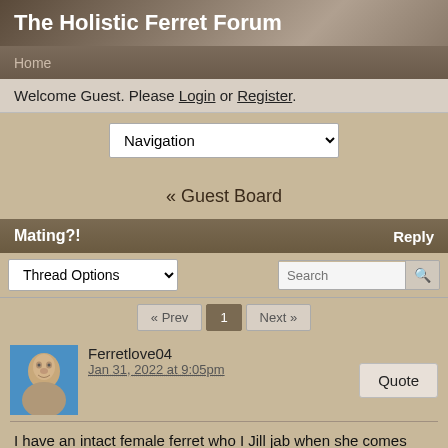The Holistic Ferret Forum
Home
Welcome Guest. Please Login or Register.
Navigation
« Guest Board
Mating?!	Reply
Thread Options	Search
« Prev  1  Next »
Ferretlove04
Jan 31, 2022 at 9:05pm
I have an intact female ferret who I Jill jab when she comes into season. This year I bought two young males and was under the impression they could be neutered when both testicles had descended. I wss going to get